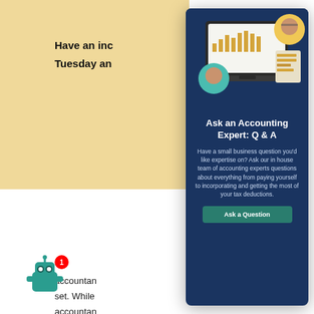Have an inc
Tuesday an
accountan
set. While
accountan
An accour
but they're
ense.
are ta
statements
[Figure (screenshot): Modal popup with dark navy blue background showing a laptop with accounting software, two circular profile photos of men, and a document/clipboard illustration. Ask an Accounting Expert: Q & A]
Ask an Accounting Expert: Q & A
Have a small business question you'd like expertise on? Ask our in house team of accounting experts questions about everything from paying yourself to incorporating and getting the most of your tax deductions.
Ask a Question
[Figure (illustration): Teal robot/chatbot icon with a red notification badge showing the number 1]